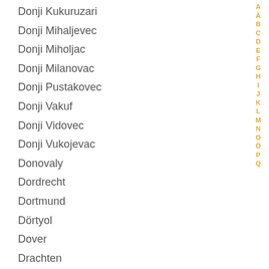Donji Kukuruzari
Donji Mihaljevec
Donji Miholjac
Donji Milanovac
Donji Pustakovec
Donji Vakuf
Donji Vidovec
Donji Vukojevac
Donovaly
Dordrecht
Dortmund
Dörtyol
Dover
Drachten
Drage